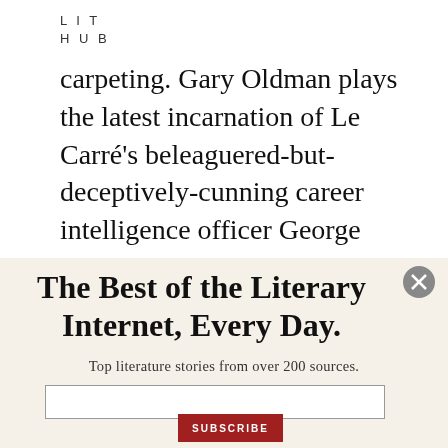LIT
HUB
carpeting. Gary Oldman plays the latest incarnation of Le Carré's beleaguered-but-deceptively-cunning career intelligence officer George Smiley, here brought out of retirement and tasked with rooting
The Best of the Literary Internet, Every Day.
Top literature stories from over 200 sources.